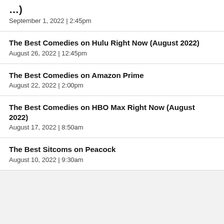...) September 1, 2022 | 2:45pm
The Best Comedies on Hulu Right Now (August 2022)
August 26, 2022 | 12:45pm
The Best Comedies on Amazon Prime
August 22, 2022 | 2:00pm
The Best Comedies on HBO Max Right Now (August 2022)
August 17, 2022 | 8:50am
The Best Sitcoms on Peacock
August 10, 2022 | 9:30am